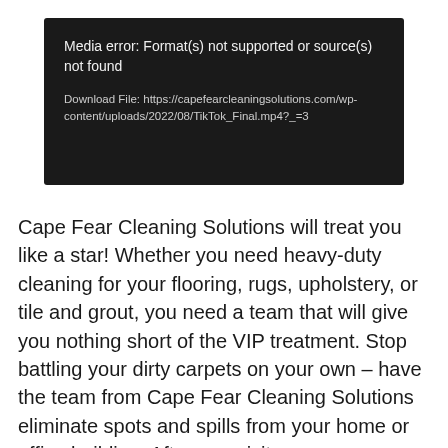[Figure (screenshot): Media player error screen with dark background showing error message: 'Media error: Format(s) not supported or source(s) not found' and download file URL.]
Cape Fear Cleaning Solutions will treat you like a star! Whether you need heavy-duty cleaning for your flooring, rugs, upholstery, or tile and grout, you need a team that will give you nothing short of the VIP treatment. Stop battling your dirty carpets on your own – have the team from Cape Fear Cleaning Solutions eliminate spots and spills from your home or office building. After one visit from our team, you will come to see why clients will never settle for…